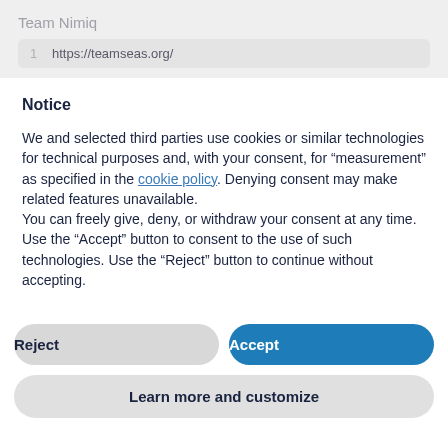Team Nimiq
1   https://teamseas.org/
Notice
We and selected third parties use cookies or similar technologies for technical purposes and, with your consent, for “measurement” as specified in the cookie policy. Denying consent may make related features unavailable.
You can freely give, deny, or withdraw your consent at any time. Use the “Accept” button to consent to the use of such technologies. Use the “Reject” button to continue without accepting.
Reject
Accept
Learn more and customize